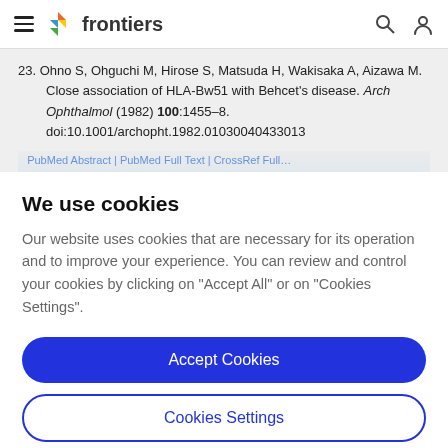frontiers
23. Ohno S, Ohguchi M, Hirose S, Matsuda H, Wakisaka A, Aizawa M. Close association of HLA-Bw51 with Behcet's disease. Arch Ophthalmol (1982) 100:1455–8. doi:10.1001/archopht.1982.01030040433013
We use cookies
Our website uses cookies that are necessary for its operation and to improve your experience. You can review and control your cookies by clicking on "Accept All" or on "Cookies Settings".
Accept Cookies
Cookies Settings